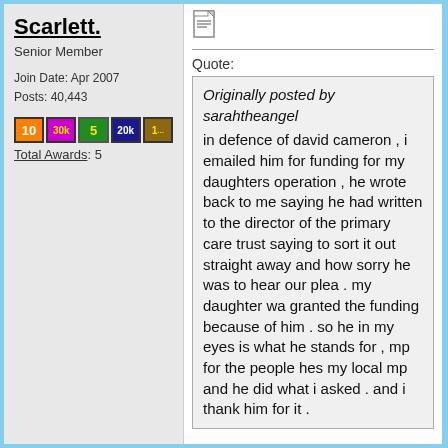Scarlett.
Senior Member
Join Date: Apr 2007
Posts: 40,443
[Figure (illustration): Five forum award badges: orange '10', purple '30k', green '5', blue '20k', pixelated '1...']
Total Awards: 5
[Figure (illustration): Small document/notepad icon]
Quote:
Originally posted by sarahtheangel
in defence of david cameron , i emailed him for funding for my daughters operation , he wrote back to me saying he had written to the director of the primary care trust saying to sort it out straight away and how sorry he was to hear our plea . my daughter wa granted the funding because of him . so he in my eyes is what he stands for , mp for the people hes my local mp and he did what i asked . and i thank him for it .